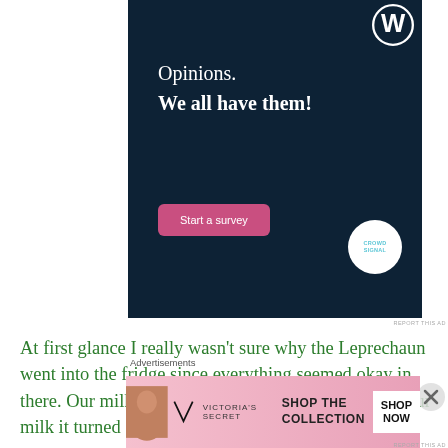[Figure (other): WordPress/CrowdSignal ad banner with dark navy background. Text reads 'Opinions. We all have them!' with a pink 'Start a survey' button and the CrowdSignal logo circle.]
REPORT THIS AD
At first glance I really wasn't sure why the Leprechaun went into the fridge since everything seemed okay in there. Our milk appeared normal but when I poured our milk it turned green in the
Advertisements
[Figure (other): Victoria's Secret advertisement banner with pink gradient background showing a woman with curly hair. Text: 'SHOP THE COLLECTION' and 'SHOP NOW' button.]
REPORT THIS AD